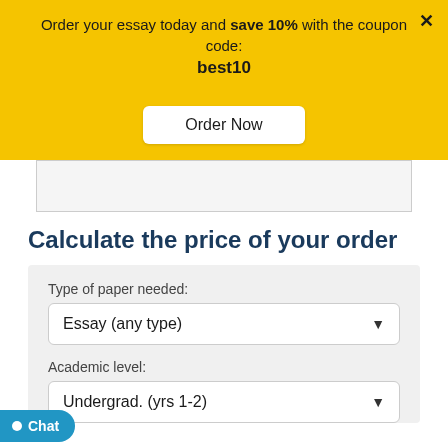Order your essay today and save 10% with the coupon code: best10
Order Now
Calculate the price of your order
Type of paper needed:
Essay (any type)
Academic level:
Undergrad. (yrs 1-2)
Chat